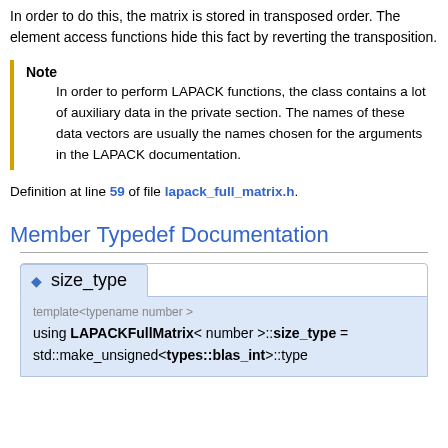In order to do this, the matrix is stored in transposed order. The element access functions hide this fact by reverting the transposition.
Note
In order to perform LAPACK functions, the class contains a lot of auxiliary data in the private section. The names of these data vectors are usually the names chosen for the arguments in the LAPACK documentation.
Definition at line 59 of file lapack_full_matrix.h.
Member Typedef Documentation
◆ size_type
template<typename number >
using LAPACKFullMatrix< number >::size_type = std::make_unsigned<types::blas_int>::type